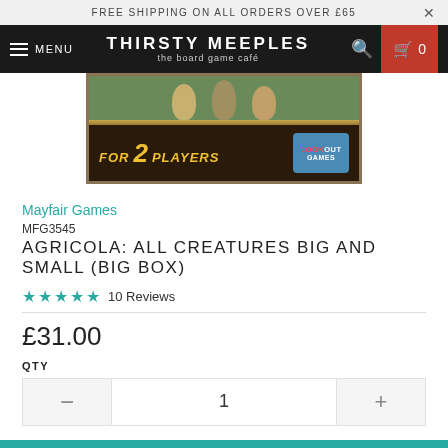FREE SHIPPING ON ALL ORDERS OVER £65
THIRSTY MEEPLES the board game café MENU 0
[Figure (illustration): Product image banner showing 'FOR 2 PLAYERS' with Lookout Games logo on a dark wooden background with character illustrations]
Mayfair Games
MFG3545
AGRICOLA: ALL CREATURES BIG AND SMALL (BIG BOX)
★★★★★ 10 Reviews
£31.00
QTY
1